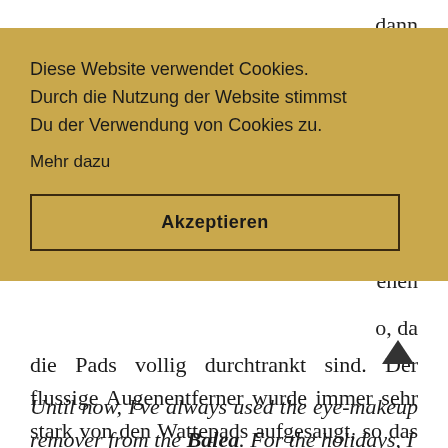[Figure (screenshot): Cookie consent overlay banner with gold/tan background, containing text 'Diese Website verwendet Cookies. Durch die Nutzung der Website stimmst Du der Verwendung von Cookies zu.' and link 'Mehr dazu', and a button labeled 'Akzeptieren']
die Pads vollig durchtrankt sind. Der flussige Augenentferner wurde immer sehr stark von den Wattepads aufgesaugt, so das man letztendlich mehr verwenden musste.
Until now, I've always used the eye-makeup remover from the Balea. For the holidays, I